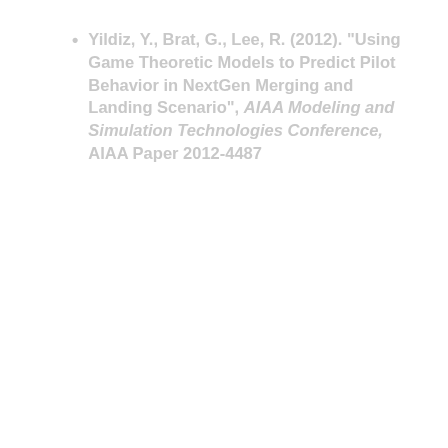Yildiz, Y., Brat, G., Lee, R. (2012). "Using Game Theoretic Models to Predict Pilot Behavior in NextGen Merging and Landing Scenario", AIAA Modeling and Simulation Technologies Conference, AIAA Paper 2012-4487